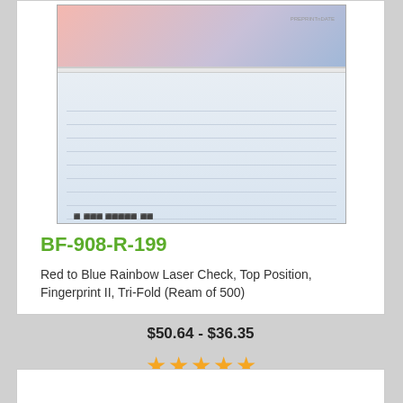[Figure (photo): Product image of Red to Blue Rainbow Laser Check showing top check section with pink-to-blue gradient and bottom stub section with light blue lines]
BF-908-R-199
Red to Blue Rainbow Laser Check, Top Position, Fingerprint II, Tri-Fold (Ream of 500)
$50.64 - $36.35
[Figure (other): Five orange stars rating]
[Figure (photo): Partial product image at bottom of page showing blue check product]